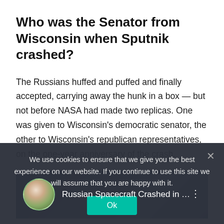Who was the Senator from Wisconsin when Sputnik crashed?
The Russians huffed and puffed and finally accepted, carrying away the hunk in a box — but not before NASA had made two replicas. One was given to Wisconsin's democratic senator, the other to Wisconsin's republican representatives, on the one-year anniversary of the crash.
[Figure (screenshot): Video embed thumbnail showing 'Russian Spacecraft Crashed in Wi...' with a circular avatar of a blonde woman on the left, text title in white on a dark blue/grey background, and a vertical dots menu icon on the right.]
We use cookies to ensure that we give you the best experience on our website. If you continue to use this site we will assume that you are happy with it.